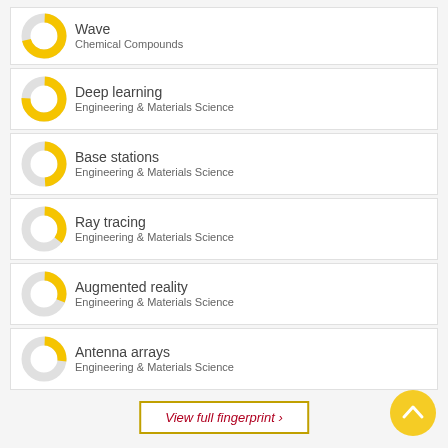Wave
Chemical Compounds
Deep learning
Engineering & Materials Science
Base stations
Engineering & Materials Science
Ray tracing
Engineering & Materials Science
Augmented reality
Engineering & Materials Science
Antenna arrays
Engineering & Materials Science
View full fingerprint >